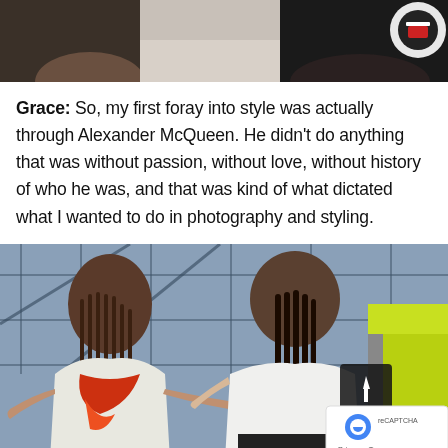[Figure (photo): Top cropped photo showing two people, one in a dark jacket with a circular badge/logo, shot from shoulders up against a light background]
Grace: So, my first foray into style was actually through Alexander McQueen. He didn't do anything that was without passion, without love, without history of who he was, and that was kind of what dictated what I wanted to do in photography and styling.
[Figure (photo): Photo of two women working together in a space with large windows. One woman with braided hair wearing white top and red/orange scarf extending her arms. Second woman in white t-shirt leaning forward. A third figure in yellow-green jacket visible on right. A scroll-to-top button and reCAPTCHA badge overlay the image.]